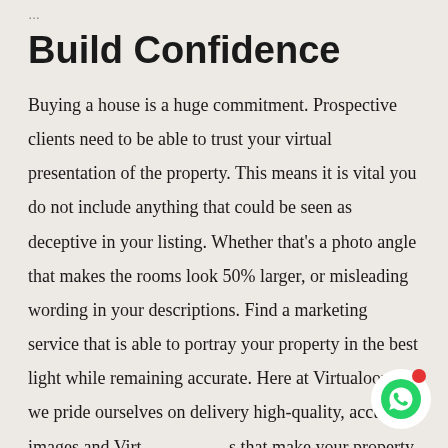…
Build Confidence
Buying a house is a huge commitment. Prospective clients need to be able to trust your virtual presentation of the property. This means it is vital you do not include anything that could be seen as deceptive in your listing. Whether that's a photo angle that makes the rooms look 50% larger, or misleading wording in your descriptions. Find a marketing service that is able to portray your property in the best light while remaining accurate. Here at Virtualoom, we pride ourselves on delivery high-quality, accurate images and Virtualoom tours that make your property to shine. Remember, overseas